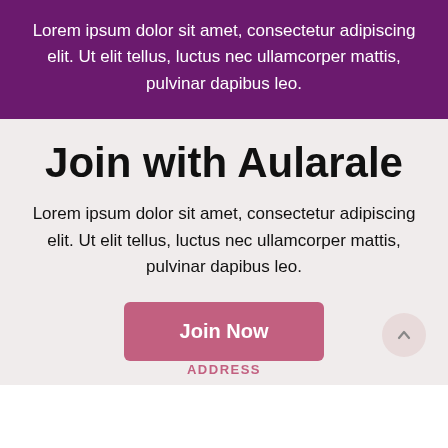Lorem ipsum dolor sit amet, consectetur adipiscing elit. Ut elit tellus, luctus nec ullamcorper mattis, pulvinar dapibus leo.
Join with Aularale
Lorem ipsum dolor sit amet, consectetur adipiscing elit. Ut elit tellus, luctus nec ullamcorper mattis, pulvinar dapibus leo.
Join Now
ADDRESS